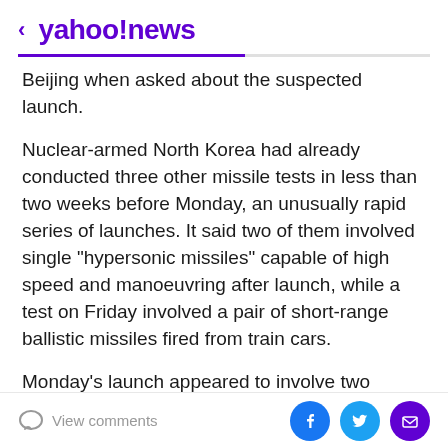< yahoo!news
Beijing when asked about the suspected launch.
Nuclear-armed North Korea had already conducted three other missile tests in less than two weeks before Monday, an unusually rapid series of launches. It said two of them involved single "hypersonic missiles" capable of high speed and manoeuvring after launch, while a test on Friday involved a pair of short-range ballistic missiles fired from train cars.
Monday's launch appeared to involve two SRBMs fired east from Sunan Airfield in Pyongyang, South Korea's Joint Chiefs of Staff (JCS) said in a statement.
View comments